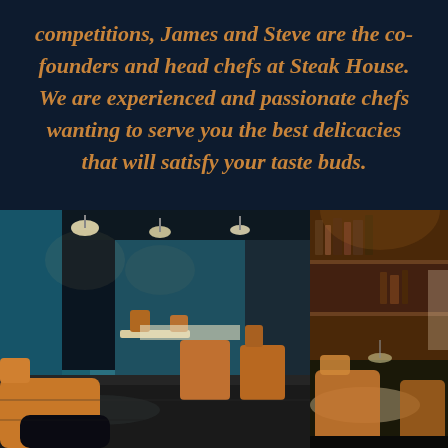competitions, James and Steve are the co-founders and head chefs at Steak House. We are experienced and passionate chefs wanting to serve you the best delicacies that will satisfy your taste buds.
[Figure (photo): Two side-by-side restaurant interior photos. Left photo shows a casual dining restaurant interior with wooden chairs and tables, teal/blue walls, pendant lights hanging from the ceiling, and a dark bag on the foreground floor. Right photo shows wooden shelving/paneling and more restaurant seating with wooden chairs around a round table.]